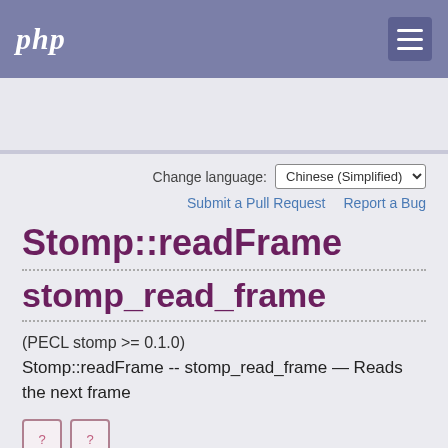php
Search
Change language: Chinese (Simplified)
Submit a Pull Request  Report a Bug
Stomp::readFrame
stomp_read_frame
(PECL stomp >= 0.1.0)
Stomp::readFrame -- stomp_read_frame — Reads the next frame
[Figure (other): Two navigation icons (previous/next page arrows or similar icon boxes with question marks)]
[Figure (other): Small icon strip at bottom]